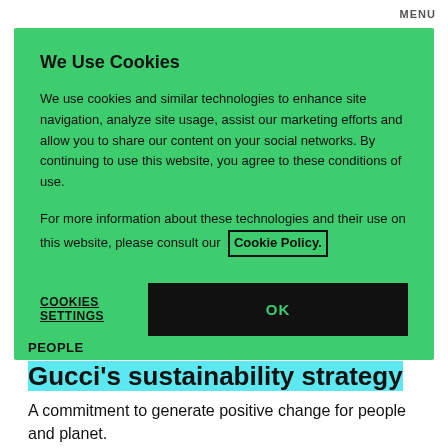MENU
We Use Cookies
We use cookies and similar technologies to enhance site navigation, analyze site usage, assist our marketing efforts and allow you to share our content on your social networks. By continuing to use this website, you agree to these conditions of use.
For more information about these technologies and their use on this website, please consult our Cookie Policy.
COOKIES SETTINGS
OK
PEOPLE
Gucci's sustainability strategy
A commitment to generate positive change for people and planet.